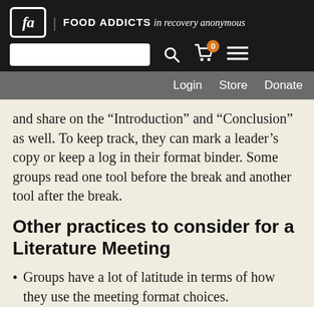fa | FOOD ADDICTS in recovery anonymous
Login  Store  Donate
and share on the “Introduction” and “Conclusion” as well. To keep track, they can mark a leader’s copy or keep a log in their format binder. Some groups read one tool before the break and another tool after the break.
Other practices to consider for a Literature Meeting
Groups have a lot of latitude in terms of how they use the meeting format choices.